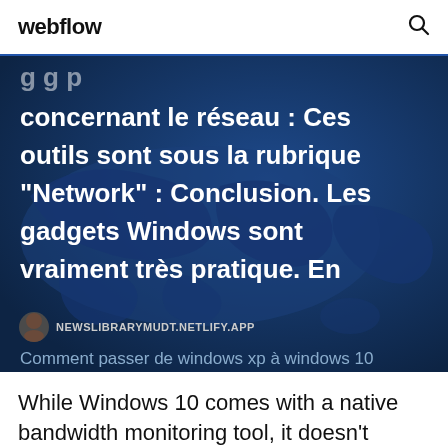webflow
[Figure (screenshot): Dark blue world map background hero image with overlaid white text in French about Windows gadgets and network tools]
concernant le réseau : Ces outils sont sous la rubrique "Network" : Conclusion. Les gadgets Windows sont vraiment très pratique. En
NEWSLIBRARYMUDT.NETLIFY.APP
Comment passer de windows xp à windows 10
While Windows 10 comes with a native bandwidth monitoring tool, it doesn't